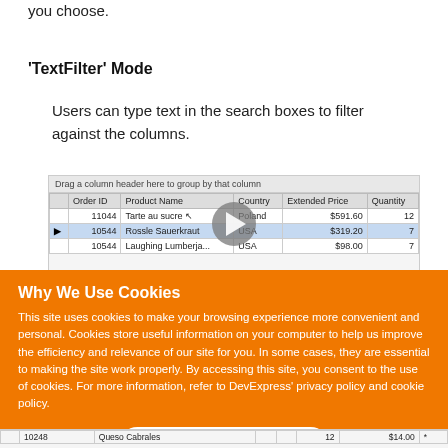you choose.
'TextFilter' Mode
Users can type text in the search boxes to filter against the columns.
[Figure (screenshot): Screenshot of a data grid showing columns: Order ID, Product Name, Country, Extended Price, Quantity. Rows include Tarte au sucre (Poland, $591.60, 12), Rossle Sauerkraut (USA, $319.20, 7), Laughing Lumberja... (USA, $98.00, 7). A play button overlay is shown in the center.]
Why We Use Cookies
This site uses cookies to make your browsing experience more convenient and personal. Cookies store useful information on your computer to help us improve the efficiency and relevance of our site for you. In some cases, they are essential to making the site work properly. By accessing this site, you consent to the use of cookies. For more information, refer to DevExpress' privacy policy and cookie policy.
I UNDERSTAND
|  | Order ID | Product Name | Country | Extended Price | Quantity |
| --- | --- | --- | --- | --- | --- |
|  | 10248 | Queso Cabrales |  | 12 | $14.00 |